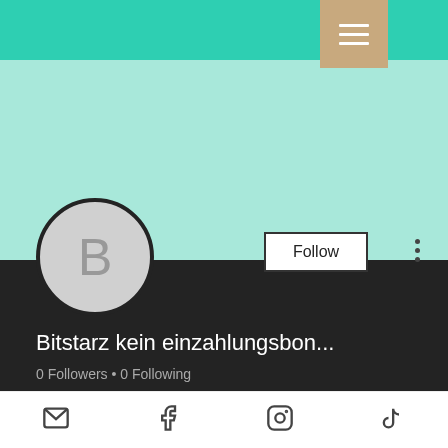[Figure (screenshot): Mobile app profile page screenshot with teal header, hamburger menu button, user avatar with letter B, Follow button, username Bitstarz kein einzahlungsbon..., follower/following stats, Profile section with join date, and bottom navigation bar with social icons]
Bitstarz kein einzahlungsbon...
0 Followers • 0 Following
Profile
Join date: May 14, 2022